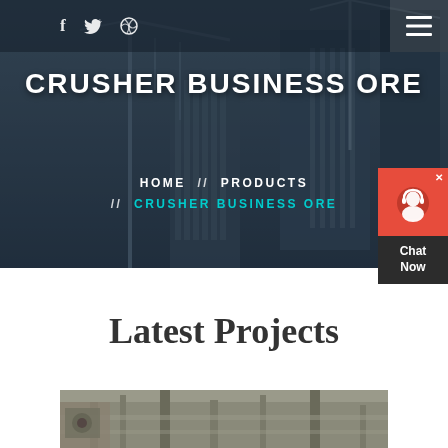[Figure (photo): Construction site hero background with cranes and buildings under construction in dark blue-grey overlay]
f  [twitter icon]  [dribbble icon]  [hamburger menu]
CRUSHER BUSINESS ORE
HOME // PRODUCTS // CRUSHER BUSINESS ORE
Latest Projects
[Figure (photo): Industrial machinery / construction equipment image at the bottom of the page]